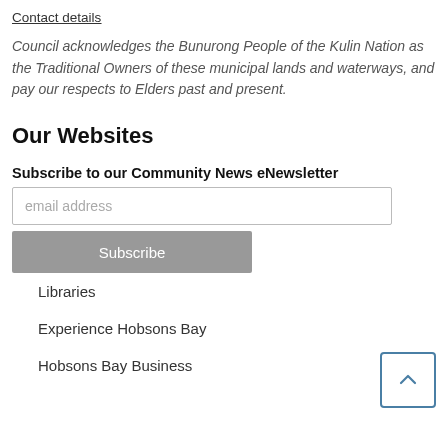Contact details
Council acknowledges the Bunurong People of the Kulin Nation as the Traditional Owners of these municipal lands and waterways, and pay our respects to Elders past and present.
Our Websites
Subscribe to our Community News eNewsletter
Libraries
Experience Hobsons Bay
Hobsons Bay Business